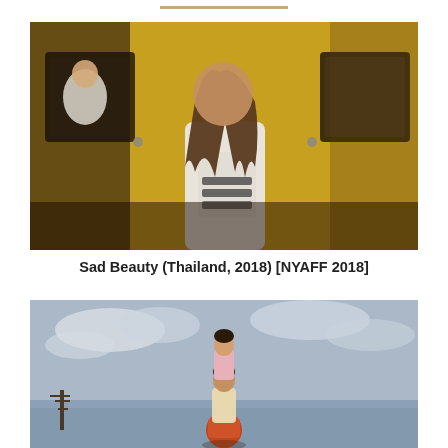[Figure (photo): A person with long hair wearing a white rock band t-shirt standing in front of a yellow train car door, with another person visible in the window reflection]
Sad Beauty (Thailand, 2018) [NYAFF 2018]
[Figure (photo): A person carrying a child on their shoulders, standing outdoors against a cloudy sky with a rural landscape in the background]